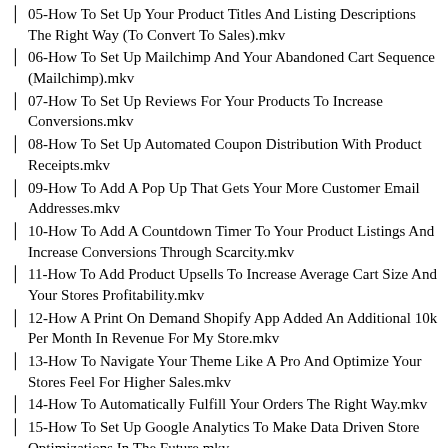05-How To Set Up Your Product Titles And Listing Descriptions The Right Way (To Convert To Sales).mkv
06-How To Set Up Mailchimp And Your Abandoned Cart Sequence (Mailchimp).mkv
07-How To Set Up Reviews For Your Products To Increase Conversions.mkv
08-How To Set Up Automated Coupon Distribution With Product Receipts.mkv
09-How To Add A Pop Up That Gets Your More Customer Email Addresses.mkv
10-How To Add A Countdown Timer To Your Product Listings And Increase Conversions Through Scarcity.mkv
11-How To Add Product Upsells To Increase Average Cart Size And Your Stores Profitability.mkv
12-How A Print On Demand Shopify App Added An Additional 10k Per Month In Revenue For My Store.mkv
13-How To Navigate Your Theme Like A Pro And Optimize Your Stores Feel For Higher Sales.mkv
14-How To Automatically Fulfill Your Orders The Right Way.mkv
15-How To Set Up Google Analytics To Make Data Driven Store Optimizations In The Future.mkv
Module3 – Setting Up Your Store.Pdf